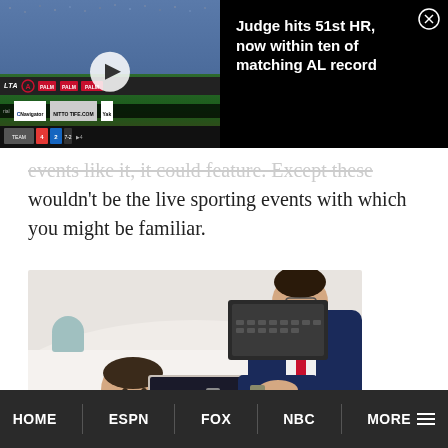[Figure (screenshot): Video thumbnail of a baseball game (Angels stadium) with play button overlay, alongside a dark news panel]
Judge hits 51st HR, now within ten of matching AL record
events like it, it could feature. Except these wouldn't be the live sporting events with which you might be familiar.
[Figure (photo): Three people around a table looking at a laptop and clipboard, business meeting scenario]
HOME   ESPN   FOX   NBC   MORE ≡